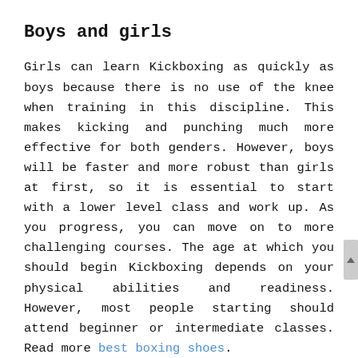Boys and girls
Girls can learn Kickboxing as quickly as boys because there is no use of the knee when training in this discipline. This makes kicking and punching much more effective for both genders. However, boys will be faster and more robust than girls at first, so it is essential to start with a lower level class and work up. As you progress, you can move on to more challenging courses. The age at which you should begin Kickboxing depends on your physical abilities and readiness. However, most people starting should attend beginner or intermediate classes. Read more best boxing shoes.